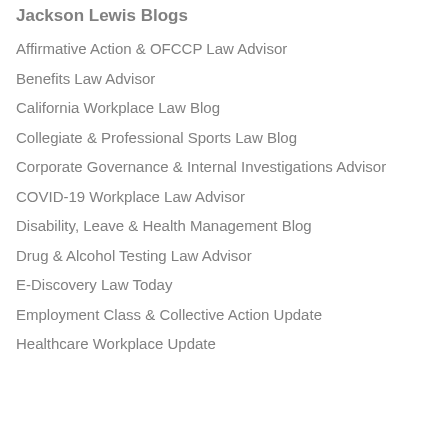Jackson Lewis Blogs
Affirmative Action & OFCCP Law Advisor
Benefits Law Advisor
California Workplace Law Blog
Collegiate & Professional Sports Law Blog
Corporate Governance & Internal Investigations Advisor
COVID-19 Workplace Law Advisor
Disability, Leave & Health Management Blog
Drug & Alcohol Testing Law Advisor
E-Discovery Law Today
Employment Class & Collective Action Update
Healthcare Workplace Update